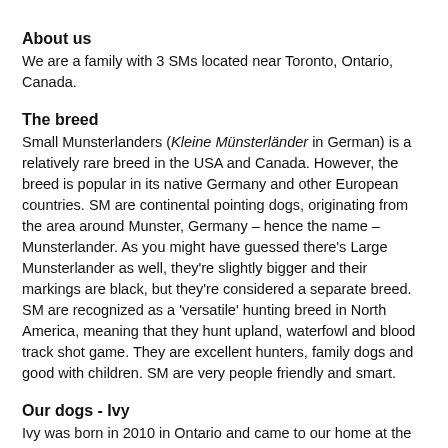About us
We are a family with 3 SMs located near Toronto, Ontario, Canada.
The breed
Small Munsterlanders (Kleine Münsterländer in German) is a relatively rare breed in the USA and Canada. However, the breed is popular in its native Germany and other European countries. SM are continental pointing dogs, originating from the area around Munster, Germany – hence the name – Munsterlander. As you might have guessed there's Large Munsterlander as well, they're slightly bigger and their markings are black, but they're considered a separate breed. SM are recognized as a 'versatile' hunting breed in North America, meaning that they hunt upland, waterfowl and blood track shot game. They are excellent hunters, family dogs and good with children. SM are very people friendly and smart.
Our dogs - Ivy
Ivy was born in 2010 in Ontario and came to our home at the age of 8 weeks. Both her parents were imported from Germany and came from